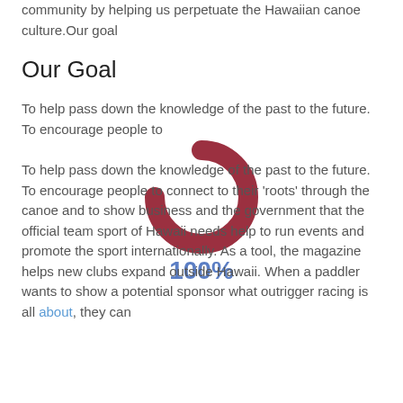community by helping us perpetuate the Hawaiian canoe culture.Our goal
Our Goal
To help pass down the knowledge of the past to the future. To encourage people to
[Figure (donut-chart): A donut chart showing 100% completion, rendered as a dark red arc forming most of a circle, with no fill in the center. A '100%' label appears below the chart in blue.]
To help pass down the knowledge of the past to the future. To encourage people to connect to their 'roots' through the canoe and to show business and the government that the official team sport of Hawaii needs help to run events and promote the sport internationally. As a tool, the magazine helps new clubs expand outside Hawaii. When a paddler wants to show a potential sponsor what outrigger racing is all about, they can